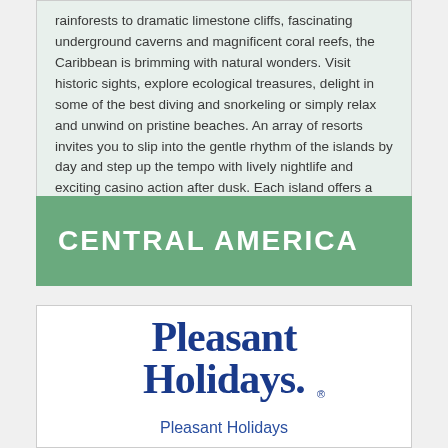rainforests to dramatic limestone cliffs, fascinating underground caverns and magnificent coral reefs, the Caribbean is brimming with natural wonders. Visit historic sights, explore ecological treasures, delight in some of the best diving and snorkeling or simply relax and unwind on pristine beaches. An array of resorts invites you to slip into the gentle rhythm of the islands by day and step up the tempo with lively nightlife and exciting casino action after dusk. Each island offers a rich cultural fusion that flavors its exotic dishes, playful music and unique artistic treasures.
CENTRAL AMERICA
[Figure (logo): Pleasant Holidays logo — bold navy blue serif text reading 'Pleasant Holidays.' with a registered trademark symbol]
Pleasant Holidays